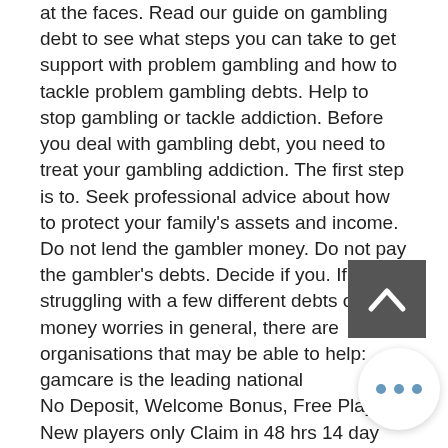at the faces. Read our guide on gambling debt to see what steps you can take to get support with problem gambling and how to tackle problem gambling debts. Help to stop gambling or tackle addiction. Before you deal with gambling debt, you need to treat your gambling addiction. The first step is to. Seek professional advice about how to protect your family's assets and income. Do not lend the gambler money. Do not pay the gambler's debts. Decide if you. If you're struggling with a few different debts or money worries in general, there are organisations that may be able to help: gamcare is the leading national No Deposit, Welcome Bonus, Free Play. New players only Claim in 48 hrs 14 day expiry FreePlay (FP) wins credited as bonus & capped at ?10, exc. JP win Valid for selected games Bonus wins capped at 50x wagering req. New players only C 48 hrs 14 day expiry FreePlay (FP) wins
[Figure (other): Back-to-top arrow button (dark grey square with upward chevron)]
[Figure (other): More options button (white circle with three grey dots)]